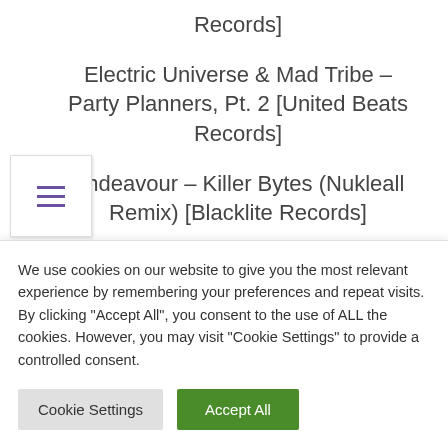Records]
Electric Universe & Mad Tribe – Party Planners, Pt. 2 [United Beats Records]
Endeavour – Killer Bytes (Nukleall Remix) [Blacklite Records]
Ital & Neutron (UK) – Parabolica [Maharetta Records]
Okta – Complex Object [Reversible Records]
Okta – Neurons Orchestra [Reversible
We use cookies on our website to give you the most relevant experience by remembering your preferences and repeat visits. By clicking "Accept All", you consent to the use of ALL the cookies. However, you may visit "Cookie Settings" to provide a controlled consent.